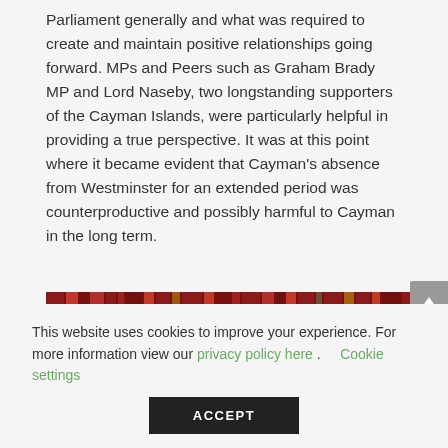the Cayman Islands were perceived within the UK's Parliament generally and what was required to create and maintain positive relationships going forward. MPs and Peers such as Graham Brady MP and Lord Naseby, two longstanding supporters of the Cayman Islands, were particularly helpful in providing a true perspective. It was at this point where it became evident that Cayman's absence from Westminster for an extended period was counterproductive and possibly harmful to Cayman in the long term.
[Figure (photo): A horizontal strip photograph showing what appears to be rows of books or legal volumes in dark red/crimson bindings on shelves, possibly a library or parliamentary library setting.]
This website uses cookies to improve your experience. For more information view our privacy policy here. Cookie settings